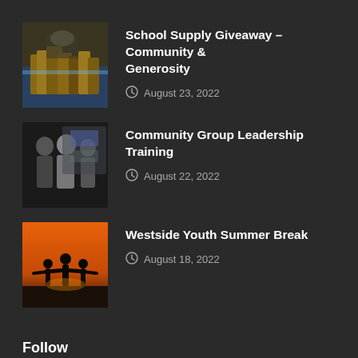School Supply Giveaway – Community & Generosity
August 23, 2022
Community Group Leadership Training
August 22, 2022
Westside Youth Summer Break
August 18, 2022
Follow
Facebook